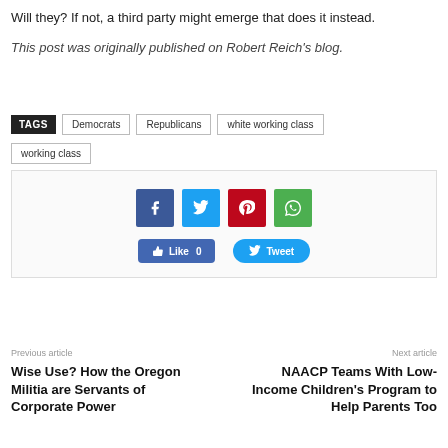Will they? If not, a third party might emerge that does it instead.
This post was originally published on Robert Reich's blog.
TAGS  Democrats  Republicans  white working class  working class
[Figure (infographic): Social share buttons: Facebook, Twitter, Pinterest, WhatsApp icons; Like 0 button and Tweet button]
Previous article
Wise Use? How the Oregon Militia are Servants of Corporate Power
Next article
NAACP Teams With Low-Income Children's Program to Help Parents Too